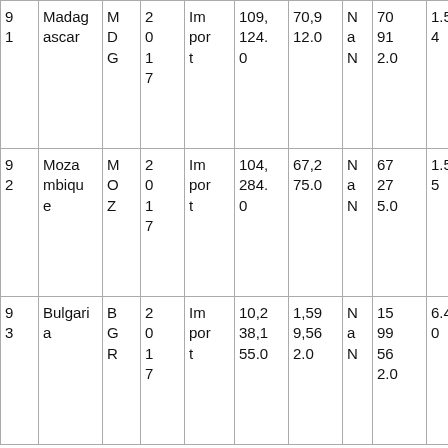| 9 1 | Madagascar | M D G | 2 0 1 7 | Im por t | 109, 124. 0 | 70,9 12.0 | N a N | 70 91 2.0 | 1.5 4 |
| 9 2 | Mozambique | M O Z | 2 0 1 7 | Im por t | 104, 284. 0 | 67,2 75.0 | N a N | 67 27 5.0 | 1.5 5 |
| 9 3 | Bulgaria | B G R | 2 0 1 7 | Im por t | 10,2 38,1 55.0 | 1,59 9,56 2.0 | N a N | 15 99 56 2.0 | 6.4 0 |